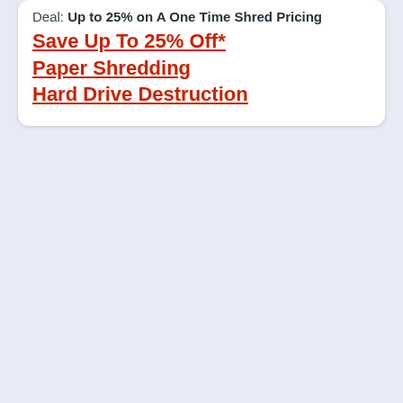Deal: Up to 25% on A One Time Shred Pricing
Save Up To 25% Off*
Paper Shredding
Hard Drive Destruction